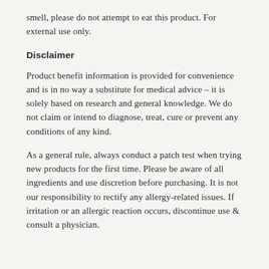smell, please do not attempt to eat this product. For external use only.
Disclaimer
Product benefit information is provided for convenience and is in no way a substitute for medical advice – it is solely based on research and general knowledge. We do not claim or intend to diagnose, treat, cure or prevent any conditions of any kind.
As a general rule, always conduct a patch test when trying new products for the first time. Please be aware of all ingredients and use discretion before purchasing. It is not our responsibility to rectify any allergy-related issues. If irritation or an allergic reaction occurs, discontinue use & consult a physician.